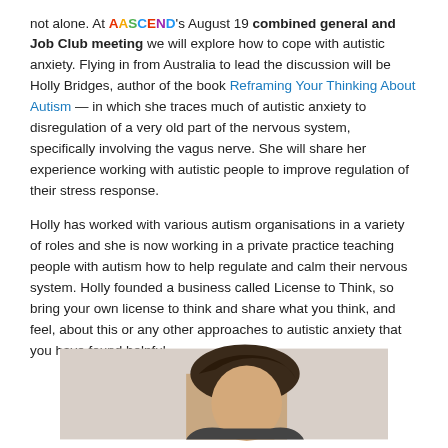not alone. At AASCEND's August 19 combined general and Job Club meeting we will explore how to cope with autistic anxiety. Flying in from Australia to lead the discussion will be Holly Bridges, author of the book Reframing Your Thinking About Autism — in which she traces much of autistic anxiety to disregulation of a very old part of the nervous system, specifically involving the vagus nerve. She will share her experience working with autistic people to improve regulation of their stress response.
Holly has worked with various autism organisations in a variety of roles and she is now working in a private practice teaching people with autism how to help regulate and calm their nervous system. Holly founded a business called License to Think, so bring your own license to think and share what you think, and feel, about this or any other approaches to autistic anxiety that you have found helpful.
[Figure (photo): Partial photo showing a person from the shoulders up and a sign or document with the number 21 and handwritten text partially visible]